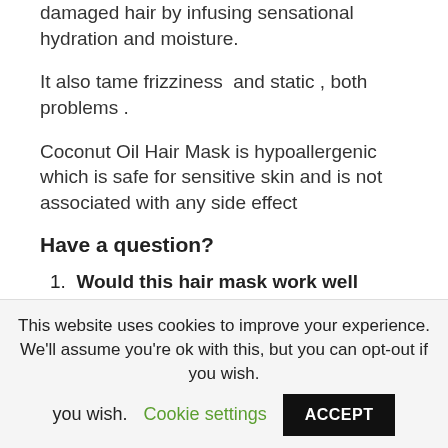damaged hair by infusing sensational hydration and moisture.
It also tame frizziness  and static , both problems .
Coconut Oil Hair Mask is hypoallergenic which is safe for sensitive skin and is not associated with any side effect
Have a question?
1. Would this hair mask work well
This website uses cookies to improve your experience. We'll assume you're ok with this, but you can opt-out if you wish.
Cookie settings
ACCEPT